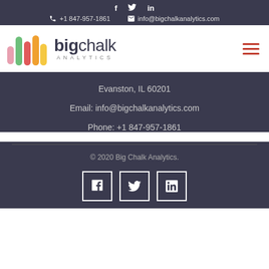f  Twitter  in  | +1 847-957-1861  info@bigchalkanalytics.com
[Figure (logo): Big Chalk Analytics logo with colorful chalk sticks and text]
Evanston, IL 60201
Email: info@bigchalkanalytics.com
Phone: +1 847-957-1861
© 2020 Big Chalk Analytics.
[Figure (infographic): Social media icons: Facebook, Twitter, LinkedIn in bordered boxes]